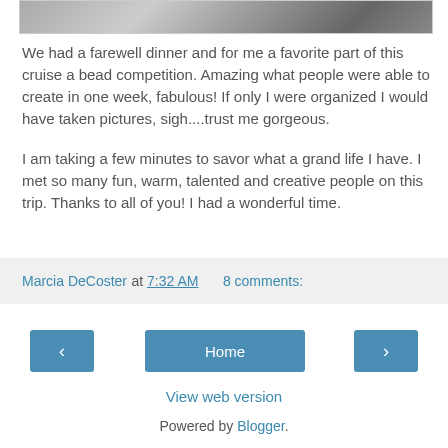[Figure (photo): Partial photo at top of page, cropped, showing a blurred/grayscale image]
We had a farewell dinner and for me a favorite part of this cruise a bead competition. Amazing what people were able to create in one week, fabulous! If only I were organized I would have taken pictures, sigh....trust me gorgeous.
I am taking a few minutes to savor what a grand life I have. I met so many fun, warm, talented and creative people on this trip. Thanks to all of you! I had a wonderful time.
Marcia DeCoster at 7:32 AM    8 comments:
Home
View web version
Powered by Blogger.